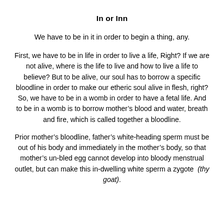In or Inn
We have to be in it in order to begin a thing, any.
First, we have to be in life in order to live a life, Right? If we are not alive, where is the life to live and how to live a life to believe? But to be alive, our soul has to borrow a specific bloodline in order to make our etheric soul alive in flesh, right? So, we have to be in a womb in order to have a fetal life. And to be in a womb is to borrow mother's blood and water, breath and fire, which is called together a bloodline.
Prior mother's bloodline, father's white-heading sperm must be out of his body and immediately in the mother's body, so that mother's un-bled egg cannot develop into bloody menstrual outlet, but can make this in-dwelling white sperm a zygote (thy goat).